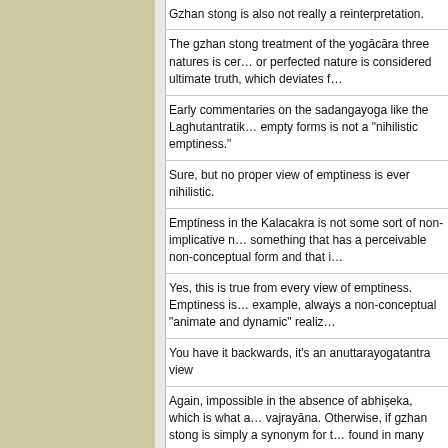Gzhan stong is also not really a reinterpretation.
The gzhan stong treatment of the yogācāra three natures is ce... or perfected nature is considered ultimate truth, which deviates f...
Early commentaries on the sadangayoga like the Laghutantratik... empty forms is not a "nihilistic emptiness."
Sure, but no proper view of emptiness is ever nihilistic.
Emptiness in the Kalacakra is not some sort of non-implicative n... something that has a perceivable non-conceptual form and that i...
Yes, this is true from every view of emptiness. Emptiness is... example, always a non-conceptual "animate and dynamic" realiz...
You have it backwards, it's an anuttarayogatantra view
Again, impossible in the absence of abhiṣeka, which is what a... vajrayāna. Otherwise, if gzhan stong is simply a synonym for t... found in many sūtra systems, there is nothing unique about tha... vajrayāna view.
Gzhan stong isn't the standard understanding of the three natu...